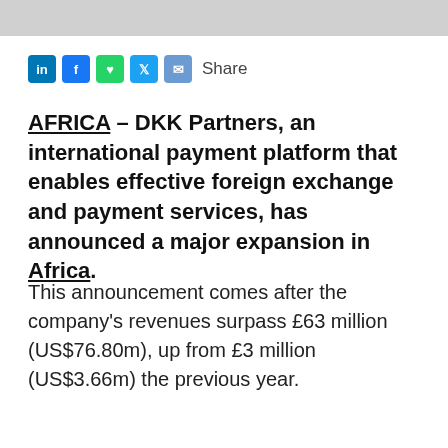[Figure (photo): Partial photo banner at top of page showing person in light-colored clothing]
Share (with social icons: LinkedIn, Facebook, WhatsApp, Twitter, Email)
AFRICA – DKK Partners, an international payment platform that enables effective foreign exchange and payment services, has announced a major expansion in Africa.
This announcement comes after the company's revenues surpass £63 million (US$76.80m), up from £3 million (US$3.66m) the previous year.